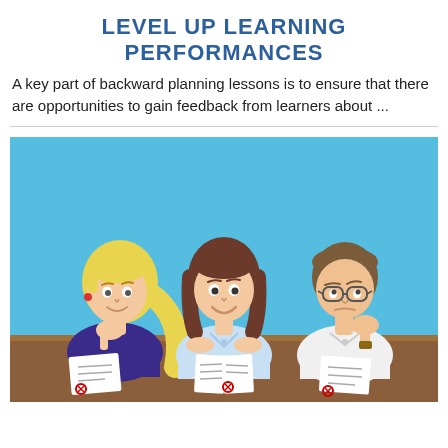LEVEL UP LEARNING PERFORMANCES
A key part of backward planning lessons is to ensure that there are opportunities to gain feedback from learners about ...
[Figure (illustration): Cartoon illustration of three students sitting at a desk with papers in front of them. From left: a blonde girl with her chin resting on her hand looking thoughtful, a brown-haired girl smiling confidently, and a boy with glasses looking bored or confused with his cheek resting on his hand. Background is light blue.]